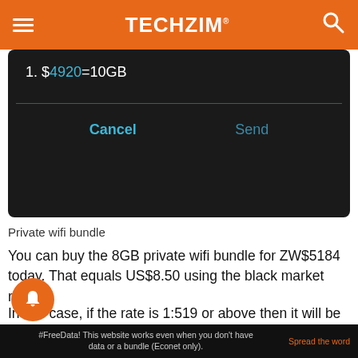TECHZiM
[Figure (screenshot): Mobile dialog showing: 1. $4920=10GB with Cancel and Send buttons on dark background]
Private wifi bundle
You can buy the 8GB private wifi bundle for ZW$5184 today. That equals US$8.50 using the black market rate.
In this case, if the rate is 1:519 or above then it will be cheaper to use the ZW$ to purchase r private wifi bundle.
#FreeData! This website works even when you don't have data or a bundle (Econet only). Spread the word